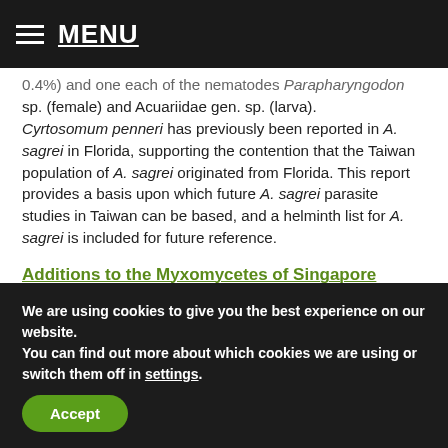MENU
0.4%) and one each of the nematodes Parapharyngodon sp. (female) and Acuariidae gen. sp. (larva). Cyrtosomum penneri has previously been reported in A. sagrei in Florida, supporting the contention that the Taiwan population of A. sagrei originated from Florida. This report provides a basis upon which future A. sagrei parasite studies in Taiwan can be based, and a helminth list for A. sagrei is included for future reference.
Additions to the Myxomycetes of Singapore
Wayne C. Rosing, David W. Mitchell, Gabriel Moreno, and Steven L. Stephenson, 391
We are using cookies to give you the best experience on our website.
You can find out more about which cookies we are using or switch them off in settings.
Accept